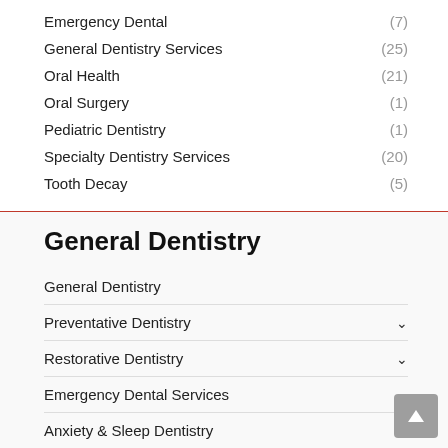Emergency Dental (7)
General Dentistry Services (25)
Oral Health (21)
Oral Surgery (1)
Pediatric Dentistry (1)
Specialty Dentistry Services (20)
Tooth Decay (5)
General Dentistry
General Dentistry
Preventative Dentistry
Restorative Dentistry
Emergency Dental Services
Anxiety & Sleep Dentistry
Family Dentistry